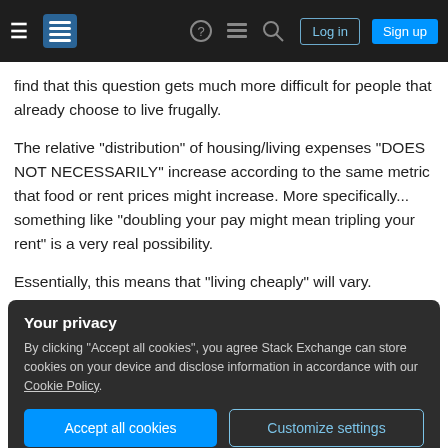Stack Exchange navigation bar with hamburger menu, logo, help, chat, search icons, Log in and Sign up buttons
find that this question gets much more difficult for people that already choose to live frugally.
The relative "distribution" of housing/living expenses "DOES NOT NECESSARILY" increase according to the same metric that food or rent prices might increase. More specifically... something like "doubling your pay might mean tripling your rent" is a very real possibility.
Essentially, this means that "living cheaply" will vary.
Your privacy
By clicking "Accept all cookies", you agree Stack Exchange can store cookies on your device and disclose information in accordance with our Cookie Policy.
Accept all cookies | Customize settings
However, no matter your choice, there will probably